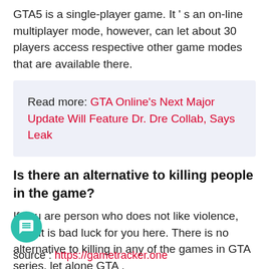GTA5 is a single-player game. It’s an on-line multiplayer mode, however, can let about 30 players access respective other game modes that are available there.
Read more: GTA Online’s Next Major Update Will Feature Dr. Dre Collab, Says Leak
Is there an alternative to killing people in the game?
If you are person who does not like violence, then it is bad luck for you here. There is no alternative to killing in any of the games in GTA series, let alone GTA . besides Check
source : https://gametracker.one